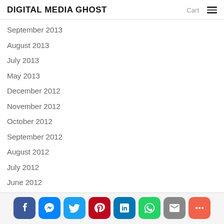DIGITAL MEDIA GHOST  Cart
September 2013
August 2013
July 2013
May 2013
December 2012
November 2012
October 2012
September 2012
August 2012
July 2012
June 2012
[Figure (infographic): Social sharing bar with icons: Facebook, Messenger, Twitter, Pinterest, LinkedIn, WhatsApp, Mail, More]